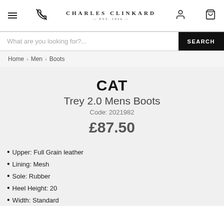CHARLES CLINKARD EST. 1924
What are you looking for?...
Home > Men > Boots
CAT
Trey 2.0 Mens Boots
Code: 2021982
£87.50
Upper: Full Grain leather
Lining: Mesh
Sole: Rubber
Heel Height: 20
Width: Standard